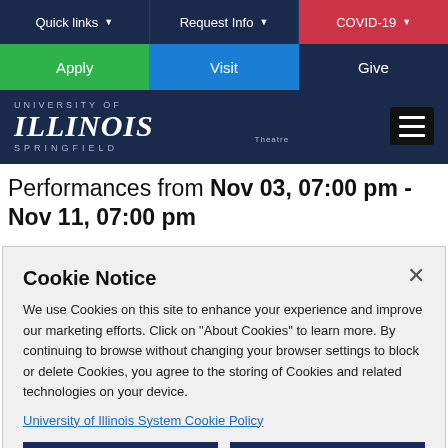Quick links ▼ | Request Info ▼ | COVID-19 ▼
Apply | Visit | Give
[Figure (logo): University of Illinois Springfield logo with hamburger menu icon]
Performances from Nov 03, 07:00 pm - Nov 11, 07:00 pm
Cookie Notice
We use Cookies on this site to enhance your experience and improve our marketing efforts. Click on "About Cookies" to learn more. By continuing to browse without changing your browser settings to block or delete Cookies, you agree to the storing of Cookies and related technologies on your device.
University of Illinois System Cookie Policy
About Cookies | Close this Notice